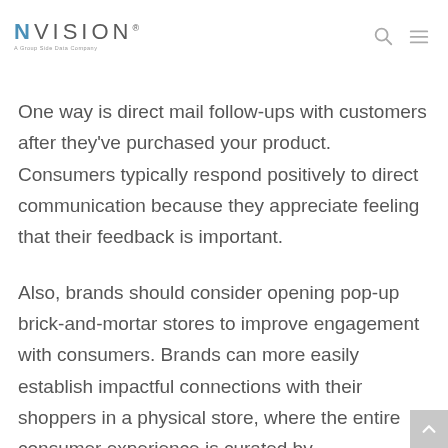NVISION® — A Group Side Data Company
One way is direct mail follow-ups with customers after they've purchased your product. Consumers typically respond positively to direct communication because they appreciate feeling that their feedback is important.
Also, brands should consider opening pop-up brick-and-mortar stores to improve engagement with consumers. Brands can more easily establish impactful connections with their shoppers in a physical store, where the entire consumer experience is curated by